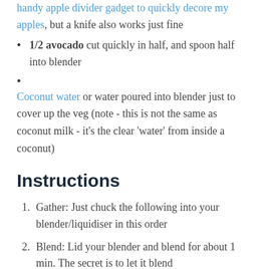handy apple divider gadget to quickly decore my apples, but a knife also works just fine
1/2 avocado cut quickly in half, and spoon half into blender
Coconut water or water poured into blender just to cover up the veg (note - this is not the same as coconut milk - it's the clear 'water' from inside a coconut)
Instructions
Gather: Just chuck the following into your blender/liquidiser in this order
Blend: Lid your blender and blend for about 1 min. The secret is to let it blend